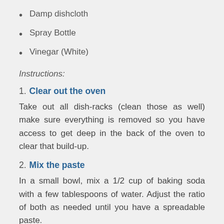Damp dishcloth
Spray Bottle
Vinegar (White)
Instructions:
1. Clear out the oven
Take out all dish-racks (clean those as well) make sure everything is removed so you have access to get deep in the back of the oven to clear that build-up.
2. Mix the paste
In a small bowl, mix a 1/2 cup of baking soda with a few tablespoons of water. Adjust the ratio of both as needed until you have a spreadable paste.
3. (cut off)